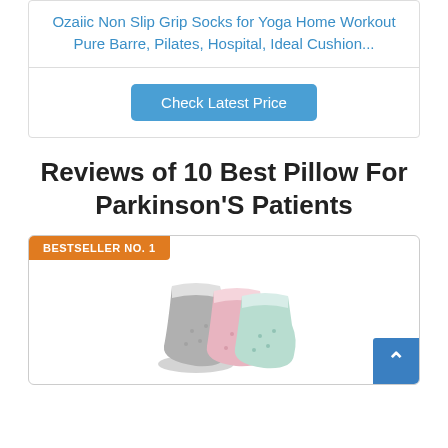Ozaiic Non Slip Grip Socks for Yoga Home Workout Pure Barre, Pilates, Hospital, Ideal Cushion...
Check Latest Price
Reviews of 10 Best Pillow For Parkinson'S Patients
BESTSELLER NO. 1
[Figure (photo): Photo of Ozaiic non-slip grip socks in grey, pink, and mint colors stacked together]